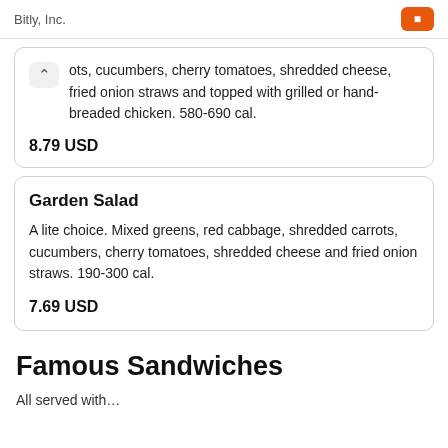Bitly, Inc.
ots, cucumbers, cherry tomatoes, shredded cheese, fried onion straws and topped with grilled or hand-breaded chicken. 580-690 cal.
8.79 USD
Garden Salad
A lite choice. Mixed greens, red cabbage, shredded carrots, cucumbers, cherry tomatoes, shredded cheese and fried onion straws. 190-300 cal.
7.69 USD
Famous Sandwiches
All served with...